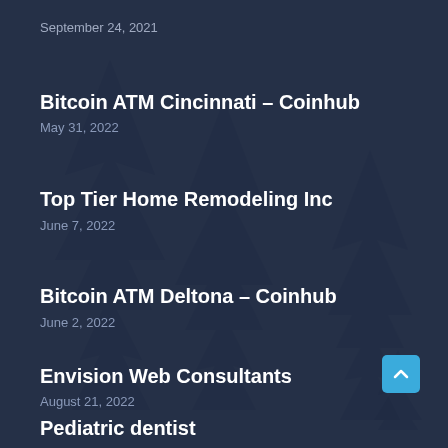September 24, 2021
Bitcoin ATM Cincinnati – Coinhub
May 31, 2022
Top Tier Home Remodeling Inc
June 7, 2022
Bitcoin ATM Deltona – Coinhub
June 2, 2022
Envision Web Consultants
August 21, 2022
Pediatric dentist